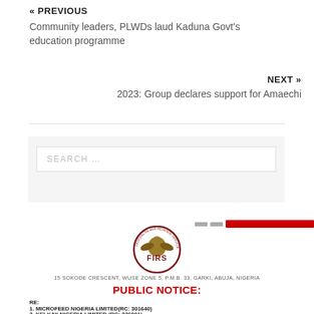« PREVIOUS
Community leaders, PLWDs laud Kaduna Govt's education programme
NEXT »
2023: Group declares support for Amaechi
[Figure (other): Search input box with placeholder text SEARCH ...]
[Figure (logo): FIRS (Federal Inland Revenue Service) circular logo with eagle emblem and text around the border]
15 SOKODE CRESCENT, WUSE ZONE 5, P.M.B. 33, GARKI, ABUJA, NIGERIA
PUBLIC NOTICE:
RE:
1. MICROFEED NIGERIA LIMITED(RC: 301640)
2. KELKAY NIGERIA LIMITED (RC: 326901)